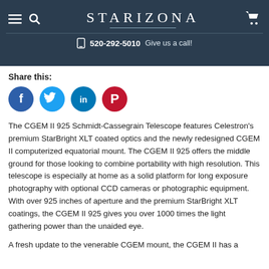STARIZONA | 520-292-5010 Give us a call!
Share this:
[Figure (other): Social media share buttons: Facebook (blue circle with f), Twitter (light blue circle with bird), LinkedIn (blue circle with in), Pinterest (red circle with P)]
The CGEM II 925 Schmidt-Cassegrain Telescope features Celestron's premium StarBright XLT coated optics and the newly redesigned CGEM II computerized equatorial mount. The CGEM II 925 offers the middle ground for those looking to combine portability with high resolution. This telescope is especially at home as a solid platform for long exposure photography with optional CCD cameras or photographic equipment. With over 925 inches of aperture and the premium StarBright XLT coatings, the CGEM II 925 gives you over 1000 times the light gathering power than the unaided eye.
A fresh update to the venerable CGEM mount, the CGEM II has a